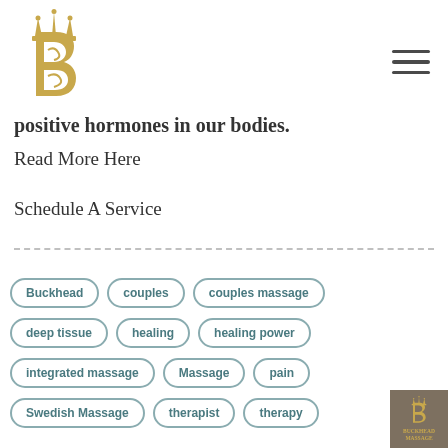[Figure (logo): Buckhead Massage gold crown and stylized B logo]
positive hormones in our bodies.
Read More Here
Schedule A Service
Buckhead
couples
couples massage
deep tissue
healing
healing power
integrated massage
Massage
pain
Swedish Massage
therapist
therapy